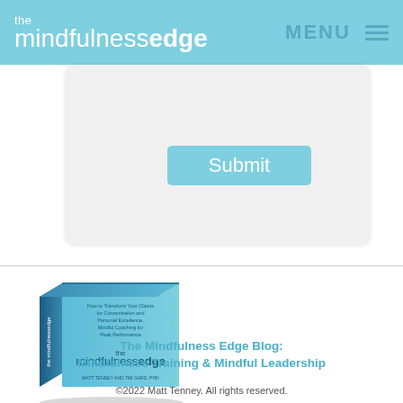the mindfulnessedge   MENU
[Figure (screenshot): Submit button on a light gray rounded rectangle form area]
[Figure (photo): Book cover of The Mindfulness Edge by Matt Tenney, light blue hardcover]
The Mindfulness Edge Blog: Mindfulness Training & Mindful Leadership
©2022 Matt Tenney. All rights reserved.